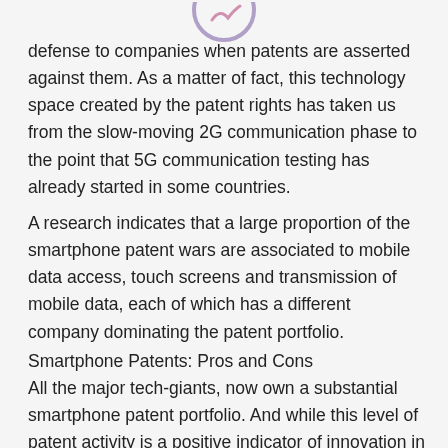[Figure (logo): Partial circular logo/icon visible at top center of page]
defense to companies when patents are asserted against them. As a matter of fact, this technology space created by the patent rights has taken us from the slow-moving 2G communication phase to the point that 5G communication testing has already started in some countries.
A research indicates that a large proportion of the smartphone patent wars are associated to mobile data access, touch screens and transmission of mobile data, each of which has a different company dominating the patent portfolio.
Smartphone Patents: Pros and Cons
All the major tech-giants, now own a substantial smartphone patent portfolio. And while this level of patent activity is a positive indicator of innovation in